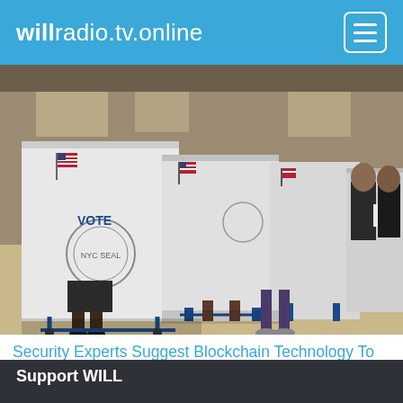willradio.tv.online
[Figure (photo): Voting booths in a polling place with several people standing at white privacy booths with American flags and 'VOTE' labels, on blue metal stands, in a large room.]
Security Experts Suggest Blockchain Technology To Protect Illinois Elections, Data
Support WILL
Donate
Membership Information